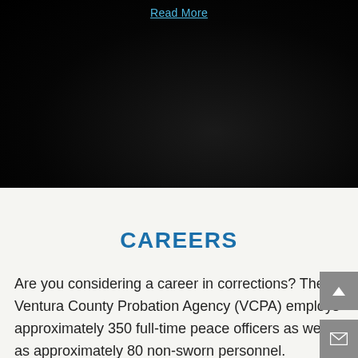[Figure (photo): Dark background image section with a faint silhouette, very low lighting]
Read More
CAREERS
Are you considering a career in corrections? The Ventura County Probation Agency (VCPA) employs approximately 350 full-time peace officers as well as approximately 80 non-sworn personnel.